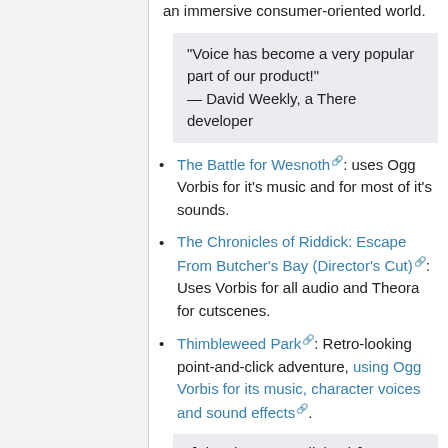an immersive consumer-oriented world.
"Voice has become a very popular part of our product!" — David Weekly, a There developer
The Battle for Wesnoth: uses Ogg Vorbis for it's music and for most of it's sounds.
The Chronicles of Riddick: Escape From Butcher's Bay (Director's Cut): Uses Vorbis for all audio and Theora for cutscenes.
Thimbleweed Park: Retro-looking point-and-click adventure, using Ogg Vorbis for its music, character voices and sound effects.
"[The characters' dialog is]